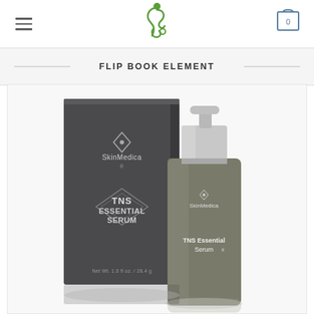Navigation header with hamburger menu, logo, and cart icon (0)
FLIP BOOK ELEMENT
[Figure (photo): SkinMedica TNS Essential Serum product photo showing dark gray box packaging and matching pump bottle with silver cap against white background]